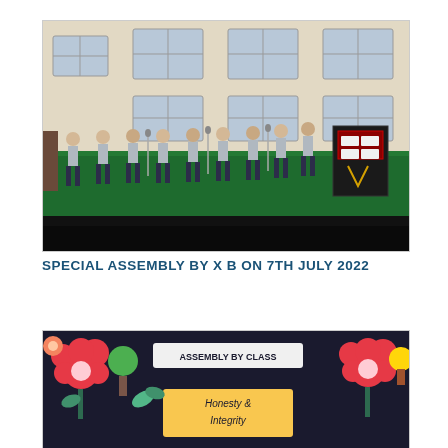[Figure (photo): Students in school uniforms (grey shirts, dark trousers) standing on a green-carpeted black stage in a school courtyard, hands folded in namaste pose, with microphone stands in front of them. A decorative podium/board is on the right. School building with windows visible in background.]
SPECIAL ASSEMBLY BY X B ON 7TH JULY 2022
[Figure (photo): A school bulletin board or display board with colourful paper flowers (red, orange) and the text 'ASSEMBLY BY CLASS...' with additional text showing 'Honesty & Integrity' on a yellow background, on a dark/black board.]